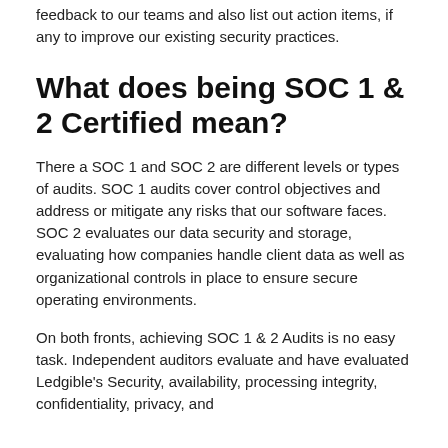feedback to our teams and also list out action items, if any to improve our existing security practices.
What does being SOC 1 & 2 Certified mean?
There a SOC 1 and SOC 2 are different levels or types of audits. SOC 1 audits cover control objectives and address or mitigate any risks that our software faces. SOC 2 evaluates our data security and storage, evaluating how companies handle client data as well as organizational controls in place to ensure secure operating environments.
On both fronts, achieving SOC 1 & 2 Audits is no easy task. Independent auditors evaluate and have evaluated Ledgible's Security, availability, processing integrity, confidentiality, privacy, and